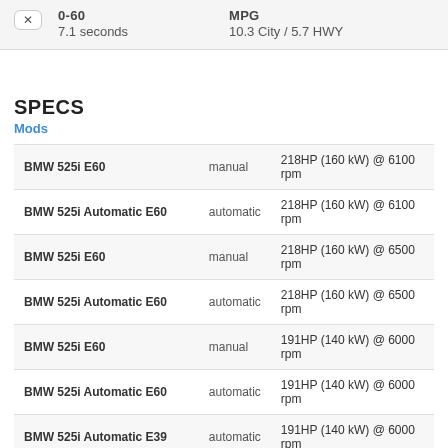0-60
7.1 seconds
MPG
10.3 City / 5.7 HWY
SPECS
Mods
| Model | Transmission | Power |
| --- | --- | --- |
| BMW 525i E60 | manual | 218HP (160 kW) @ 6100 rpm |
| BMW 525i Automatic E60 | automatic | 218HP (160 kW) @ 6100 rpm |
| BMW 525i E60 | manual | 218HP (160 kW) @ 6500 rpm |
| BMW 525i Automatic E60 | automatic | 218HP (160 kW) @ 6500 rpm |
| BMW 525i E60 | manual | 191HP (140 kW) @ 6000 rpm |
| BMW 525i Automatic E60 | automatic | 191HP (140 kW) @ 6000 rpm |
| BMW 525i Automatic E39 | automatic | 191HP (140 kW) @ 6000 rpm |
| BMW 525i E39 | ... | 191HP (140 kW) @ 6000 rpm |